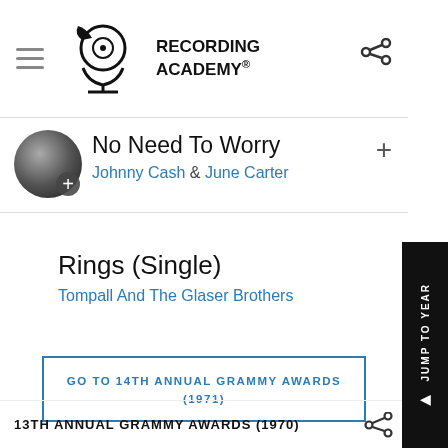Recording Academy
No Need To Worry
Johnny Cash & June Carter
Rings (Single)
Tompall And The Glaser Brothers
GO TO 14TH ANNUAL GRAMMY AWARDS (1971)
13TH ANNUAL GRAMMY AWARDS (1970)